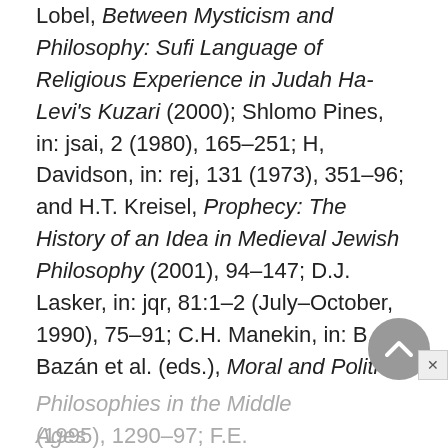Lobel, Between Mysticism and Philosophy: Sufi Language of Religious Experience in Judah Ha-Levi's Kuzari (2000); Shlomo Pines, in: jsai, 2 (1980), 165–251; H, Davidson, in: rej, 131 (1973), 351–96; and H.T. Kreisel, Prophecy: The History of an Idea in Medieval Jewish Philosophy (2001), 94–147; D.J. Lasker, in: jqr, 81:1–2 (July–October, 1990), 75–91; C.H. Manekin, in: B.C. Bazán et al. (eds.), Moral and Political Philosophies in the Middle Ages (1995), 1290–97; F.E. Halfon…